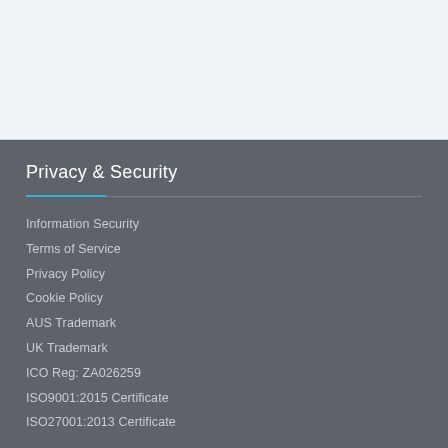Privacy & Security
Information Security
Terms of Service
Privacy Policy
Cookie Policy
AUS Trademark
UK Trademark
ICO Reg: ZA026259
ISO9001:2015 Certificate
ISO27001:2013 Certificate